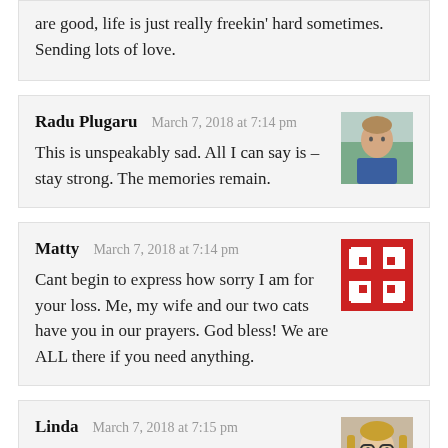are good, life is just really freekin' hard sometimes. Sending lots of love.
Radu Plugaru  March 7, 2018 at 7:14 pm
This is unspeakably sad. All I can say is – stay strong. The memories remain.
Matty  March 7, 2018 at 7:14 pm
Cant begin to express how sorry I am for your loss. Me, my wife and our two cats have you in our prayers. God bless! We are ALL there if you need anything.
Linda  March 7, 2018 at 7:15 pm
I lost my husband recently after 20 years